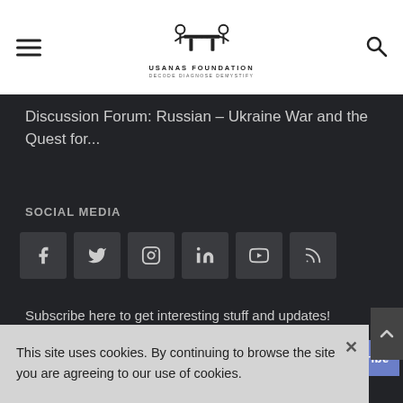USANAS FOUNDATION — DECODE DIAGNOSE DEMYSTIFY
Discussion Forum: Russian – Ukraine War and the Quest for...
SOCIAL MEDIA
[Figure (other): Row of six social media icon buttons: Facebook, Twitter, Instagram, LinkedIn, YouTube, RSS]
Subscribe here to get interesting stuff and updates!
Email Address  [Subscribe button]
This site uses cookies. By continuing to browse the site you are agreeing to our use of cookies.